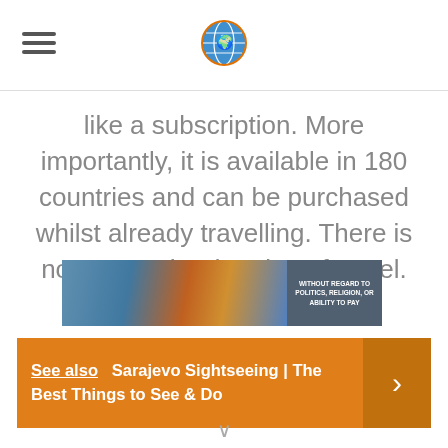[globe logo icon]
like a subscription. More importantly, it is available in 180 countries and can be purchased whilst already travelling. There is no cap on the duration of travel.
See also   Sarajevo Sightseeing | The Best Things to See & Do
[Figure (photo): Advertisement banner showing airplane cargo loading with text 'WITHOUT REGARD TO POLITICS, RELIGION, OR ABILITY TO PAY']
∨